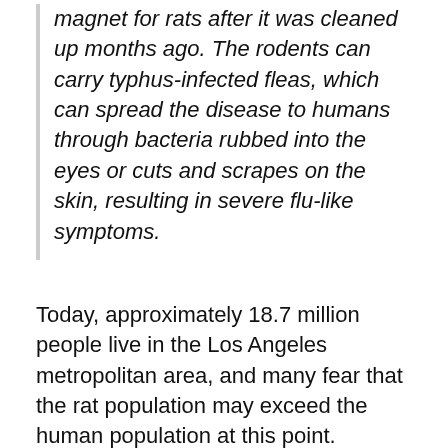magnet for rats after it was cleaned up months ago. The rodents can carry typhus-infected fleas, which can spread the disease to humans through bacteria rubbed into the eyes or cuts and scrapes on the skin, resulting in severe flu-like symptoms.
Today, approximately 18.7 million people live in the Los Angeles metropolitan area, and many fear that the rat population may exceed the human population at this point.